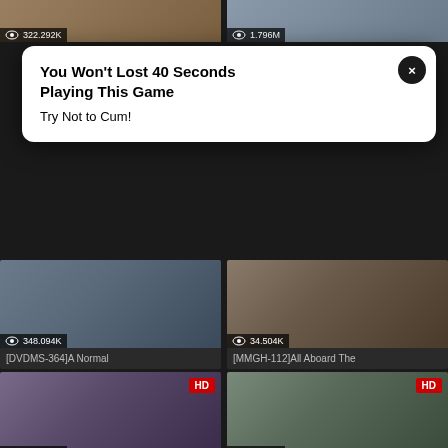[Figure (screenshot): Video thumbnail grid with two top partial thumbnails showing view counts 322.292K and 1.796M]
[Figure (infographic): Popup advertisement overlay: 'You Won't Lost 40 Seconds Playing This Game / Try Not to Cum!']
[Figure (screenshot): Video thumbnail: [DVDMS-364]A Normal, 348.094K views]
[Figure (screenshot): Video thumbnail: [MMGH-112]All Aboard The, 34.504K views]
[Figure (screenshot): Video thumbnail HD: [GDHH-118]I Moved To This, 300.281K views]
[Figure (screenshot): Video thumbnail HD: [SDDE-320](Underground), 1.114M views]
[Figure (screenshot): Bottom row partial thumbnails both showing HD badge]